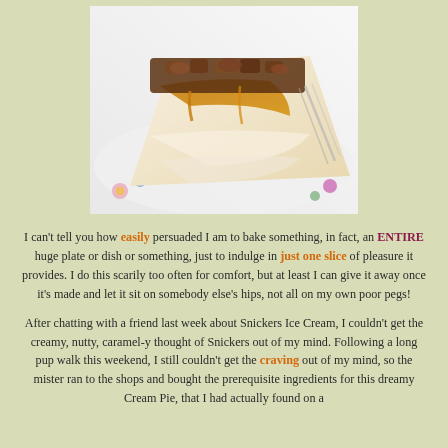[Figure (photo): Close-up photo of a slice of Snickers Ice Cream Cream Pie on a decorative floral plate, showing caramel, cream, and chocolate crumble layers]
I can't tell you how easily persuaded I am to bake something, in fact, an ENTIRE huge plate or dish or something, just to indulge in just one slice of pleasure it provides. I do this scarily too often for comfort, but at least I can give it away once it's made and let it sit on somebody else's hips, not all on my own poor pegs!
After chatting with a friend last week about Snickers Ice Cream, I couldn't get the creamy, nutty, caramel-y thought of Snickers out of my mind. Following a long pup walk this weekend, I still couldn't get the craving out of my mind, so the mister ran to the shops and bought the prerequisite ingredients for this dreamy Cream Pie, that I had actually found on a